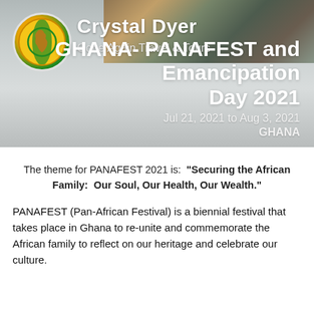Crystal Dyer
Gone Again Travel & Tours
GHANA- PANAFEST and Emancipation Day 2021
Jul 21, 2021 to Aug 3, 2021
GHANA
The theme for PANAFEST 2021 is: “Securing the African Family:  Our Soul, Our Health, Our Wealth.”
PANAFEST (Pan-African Festival) is a biennial festival that takes place in Ghana to re-unite and commemorate the African family to reflect on our heritage and celebrate our culture.